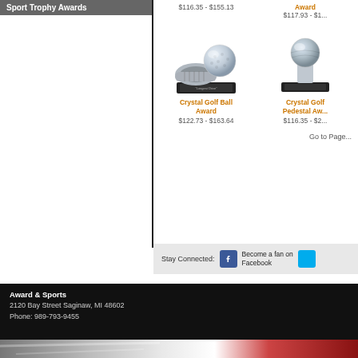Sport Trophy Awards
$116.35 - $155.13
Award
$117.93 - $1...
[Figure (photo): Crystal Golf Ball Award trophy on a black base with a golf ball on top of a driver club head]
Crystal Golf Ball Award
$122.73 - $163.64
Crystal Golf Pedestal Aw...
$116.35 - $2...
Go to Page...
Stay Connected:   Become a fan on Facebook
Award & Sports
2120 Bay Street Saginaw, MI 48602
Phone: 989-793-9455